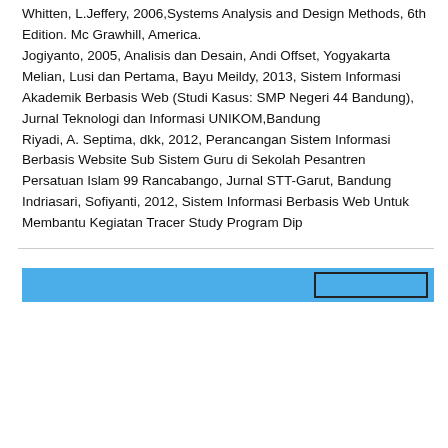Whitten, L.Jeffery, 2006, Systems Analysis and Design Methods, 6th Edition. Mc Grawhill, America. Jogiyanto, 2005, Analisis dan Desain, Andi Offset, Yogyakarta Melian, Lusi dan Pertama, Bayu Meildy, 2013, Sistem Informasi Akademik Berbasis Web (Studi Kasus: SMP Negeri 44 Bandung), Jurnal Teknologi dan Informasi UNIKOM, Bandung Riyadi, A. Septima, dkk, 2012, Perancangan Sistem Informasi Berbasis Website Sub Sistem Guru di Sekolah Pesantren Persatuan Islam 99 Rancabango, Jurnal STT-Garut, Bandung Indriasari, Sofiyanti, 2012, Sistem Informasi Berbasis Web Untuk Membantu Kegiatan Tracer Study Program Dip
[Figure (other): Blue header/navigation bar with a rectangular outlined box on the right side]